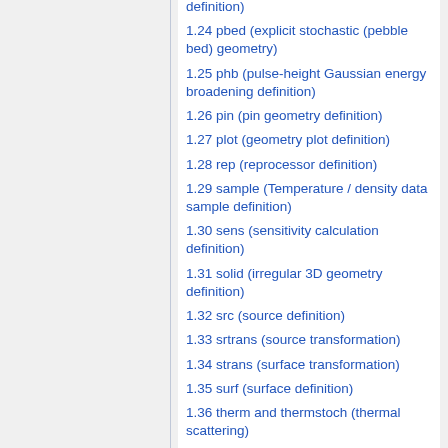definition)
1.24 pbed (explicit stochastic (pebble bed) geometry)
1.25 phb (pulse-height Gaussian energy broadening definition)
1.26 pin (pin geometry definition)
1.27 plot (geometry plot definition)
1.28 rep (reprocessor definition)
1.29 sample (Temperature / density data sample definition)
1.30 sens (sensitivity calculation definition)
1.31 solid (irregular 3D geometry definition)
1.32 src (source definition)
1.33 srtrans (source transformation)
1.34 strans (surface transformation)
1.35 surf (surface definition)
1.36 therm and thermstoch (thermal scattering)
1.37 tme (time binning definition)